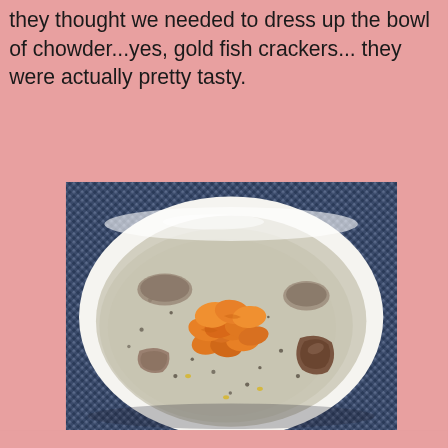they thought we needed to dress up the bowl of chowder...yes, gold fish crackers... they were actually pretty tasty.
[Figure (photo): A white bowl of creamy chowder topped with goldfish crackers (orange) and pieces of meat or seafood, placed on a blue patterned placemat/tablecloth.]